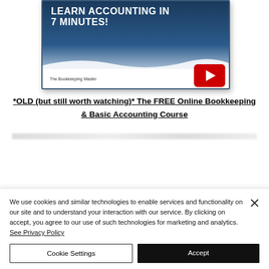[Figure (screenshot): YouTube video thumbnail showing 'LEARN ACCOUNTING IN 7 MINUTES!' text on a dark blue background with a YouTube play button and channel name 'The Bookkeeping Master']
*OLD (but still worth watching)* The FREE Online Bookkeeping & Basic Accounting Course
We use cookies and similar technologies to enable services and functionality on our site and to understand your interaction with our service. By clicking on accept, you agree to our use of such technologies for marketing and analytics. See Privacy Policy
Cookie Settings
Accept